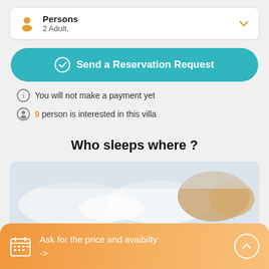Persons
2 Adult,
Send a Reservation Request
You will not make a payment yet
9 person is interested in this villa
Who sleeps where ?
[Figure (photo): Blurred photo of white and orange bed pillows on a bed]
Ask for the price and avaibilty ->